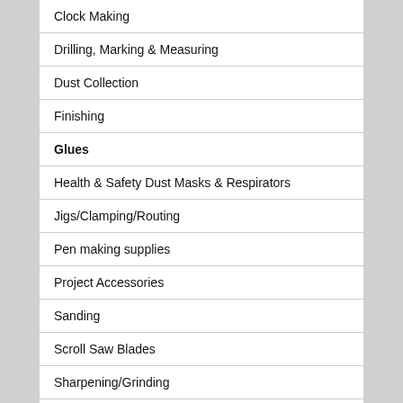Clock Making
Drilling, Marking & Measuring
Dust Collection
Finishing
Glues
Health & Safety Dust Masks & Respirators
Jigs/Clamping/Routing
Pen making supplies
Project Accessories
Sanding
Scroll Saw Blades
Sharpening/Grinding
Spare Parts
Wood Carving